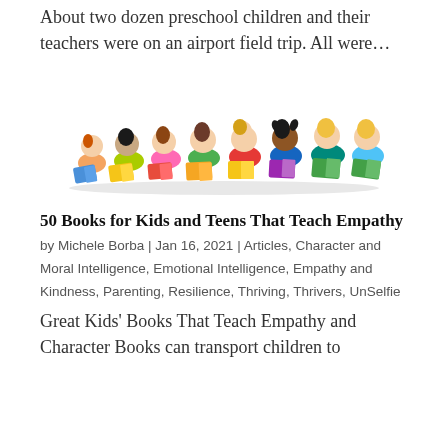About two dozen preschool children and their teachers were on an airport field trip. All were…
[Figure (photo): Group of children lying on their stomachs reading books, arranged side by side]
50 Books for Kids and Teens That Teach Empathy
by Michele Borba | Jan 16, 2021 | Articles, Character and Moral Intelligence, Emotional Intelligence, Empathy and Kindness, Parenting, Resilience, Thriving, Thrivers, UnSelfie
Great Kids' Books That Teach Empathy and Character Books can transport children to